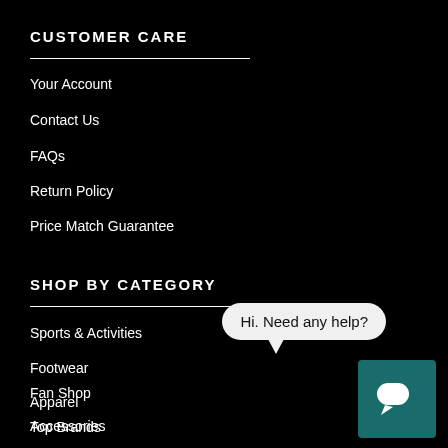CUSTOMER CARE
Your Account
Contact Us
FAQs
Return Policy
Price Match Guarantee
SHOP BY CATEGORY
Sports & Activities
Footwear
Apparel
Accessories
Fan Shop
Top Brands
[Figure (screenshot): Chat widget with speech bubble saying 'Hi. Need any help?' and a teal chat icon button in the bottom right corner]